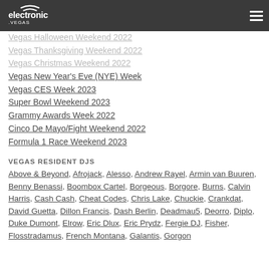electronic.vegas
Vegas Halloween Weekend 2022
Vegas Thanksgiving Weekend 2022
Vegas Christmas Weekend 2022
Vegas New Year's Eve (NYE) Week
Vegas CES Week 2023
Super Bowl Weekend 2023
Grammy Awards Week 2022
Cinco De Mayo/Fight Weekend 2022
Formula 1 Race Weekend 2023
VEGAS RESIDENT DJS
Above & Beyond, Afrojack, Alesso, Andrew Rayel, Armin van Buuren, Benny Benassi, Boombox Cartel, Borgeous, Borgore, Burns, Calvin Harris, Cash Cash, Cheat Codes, Chris Lake, Chuckie, Crankdat, David Guetta, Dillon Francis, Dash Berlin, Deadmau5, Deorro, Diplo, Duke Dumont, Elrow, Eric Dlux, Eric Prydz, Fergie DJ, Fisher, Flosstradamus, French Montana, Galantis, Gorgon